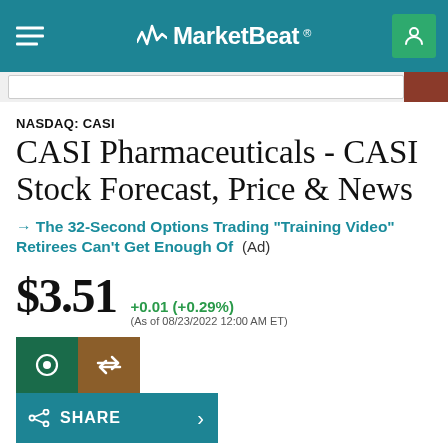MarketBeat
NASDAQ: CASI
CASI Pharmaceuticals - CASI Stock Forecast, Price & News
→ The 32-Second Options Trading "Training Video" Retirees Can't Get Enough Of  (Ad)
$3.51  +0.01 (+0.29%)  (As of 08/23/2022 12:00 AM ET)
SHARE
Today's Range  $3.46  $3.54